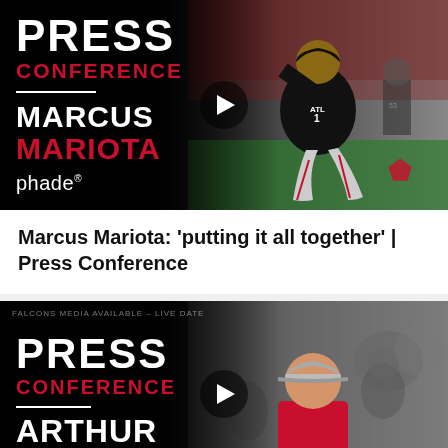[Figure (screenshot): Press Conference thumbnail video card for Marcus Mariota showing player kneeling in ATL Falcons uniform (#1) with Press Conference overlay text and phade branding on dark background]
Marcus Mariota: 'putting it all together' | Press Conference
[Figure (screenshot): Press Conference thumbnail video card for Arthur (coach) showing coach in red hoodie with cap on sideline, with Press Conference overlay text on dark background. Small header text 'FALCONS MEDIA AVAILABLE – LIVE DATE' visible at top.]